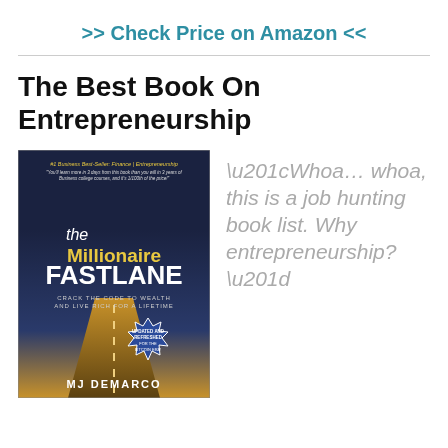>> Check Price on Amazon <<
The Best Book On Entrepreneurship
[Figure (photo): Book cover of 'The Millionaire Fastlane' by MJ DeMarco. Dark navy blue background with a road stretching into the distance. Title text reads 'the Millionaire FASTLANE' with subtitle 'Crack the Code to Wealth and Live Rich for a Lifetime'. A starburst badge reads 'Updated and Refreshed for the Bitcoin Era'. Author name 'MJ DeMarco' at the bottom.]
“Whoa… whoa, this is a job hunting book list. Why entrepreneurship?”